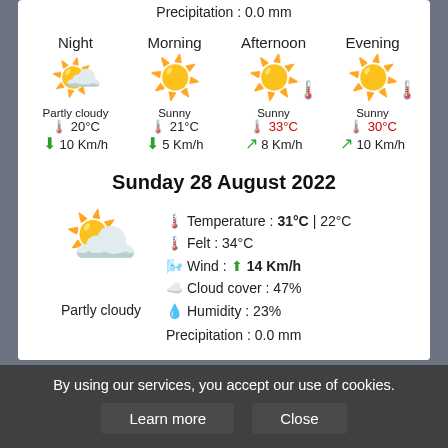Precipitation : 0.0 mm
| Night | Morning | Afternoon | Evening |
| --- | --- | --- | --- |
| Partly cloudy 🌤️ 20°C ↓ 10 Km/h | Sunny ☀️ 21°C ↓ 5 Km/h | Sunny ☀️ 33°C ↗ 8 Km/h | Sunny ☀️ 30°C ↗ 10 Km/h |
Sunday 28 August 2022
Temperature : 31°C | 22°C
Felt : 34°C
Wind : ↑ 14 Km/h
Cloud cover : 47%
Humidity : 23%
Precipitation : 0.0 mm
| Night | Morning | Afternoon | Evening |
| --- | --- | --- | --- |
|  |
By using our services, you accept our use of cookies.